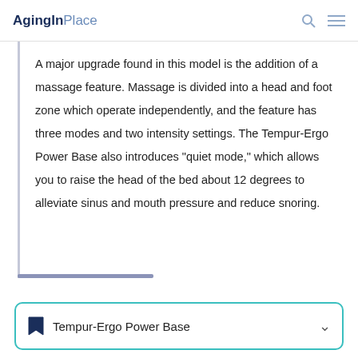AgingInPlace
A major upgrade found in this model is the addition of a massage feature. Massage is divided into a head and foot zone which operate independently, and the feature has three modes and two intensity settings. The Tempur-Ergo Power Base also introduces "quiet mode," which allows you to raise the head of the bed about 12 degrees to alleviate sinus and mouth pressure and reduce snoring.
Tempur-Ergo Power Base